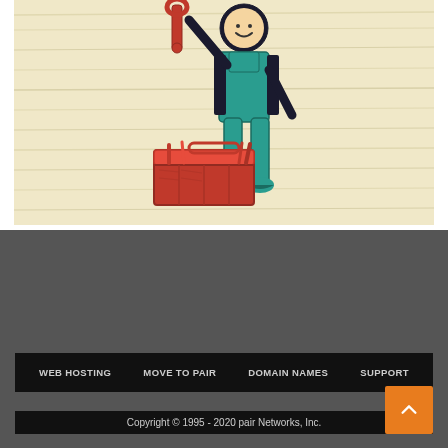[Figure (illustration): Cartoon illustration of a stick-figure person wearing teal overalls and holding a red wrench upward, with a red toolbox on the ground beside them, on a cream/beige textured background]
WEB HOSTING   MOVE TO PAIR   DOMAIN NAMES   SUPPORT
Copyright © 1995 - 2020 pair Networks, Inc.